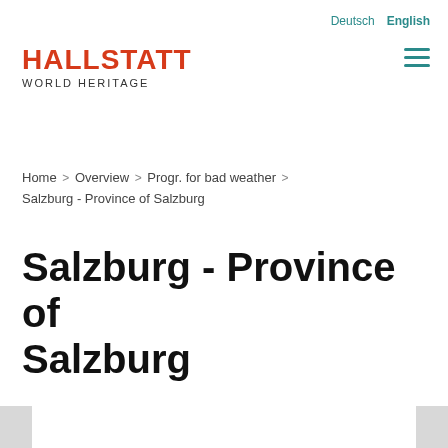Deutsch  English
HALLSTATT
WORLD HERITAGE
Home > Overview > Progr. for bad weather > Salzburg - Province of Salzburg
Salzburg - Province of Salzburg